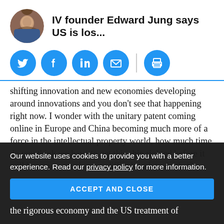IV founder Edward Jung says US is los...
[Figure (infographic): Social sharing icons: Twitter, Facebook, LinkedIn, Email, Print]
shifting innovation and new economies developing around innovations and you don't see that happening right now. I wonder with the unitary patent coming online in Europe and China becoming much more of a force in the intellectual property world, how much time do you think we have to get this ship righted before it will become a much more difficult task to do that?
JUNG: Well, that's hard to predict, I think the best
Our website uses cookies to provide you with a better experience. Read our privacy policy for more information.
ACCEPT AND CLOSE
the rigorous economy and the US treatment of